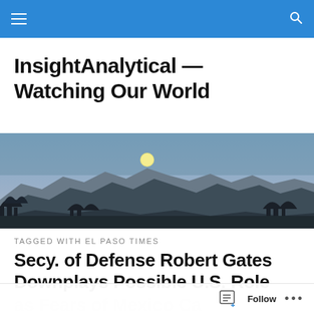InsightAnalytical — Watching Our World (navigation bar)
InsightAnalytical — Watching Our World
[Figure (photo): Panoramic dusk/twilight landscape photo showing a full moon rising above a jagged mountain range (Organ Mountains), with dark silhouetted trees in the foreground and a blue-purple sky gradient.]
TAGGED WITH EL PASO TIMES
Secy. of Defense Robert Gates Downplays Possible U.S. Role as Fears of Mexico Ca…